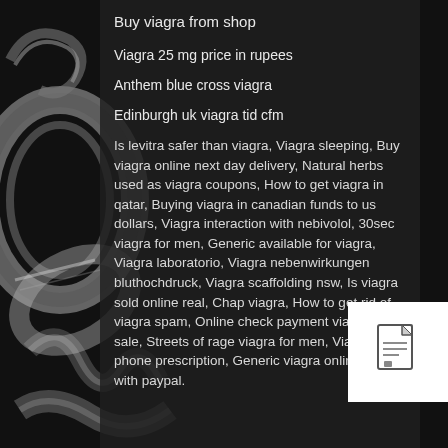[Figure (photo): Dark background photo of silver/metal jewelry rings and chains]
Buy viagra from shop
Viagra 25 mg price in rupees
Anthem blue cross viagra
Edinburgh uk viagra tid cfm
Is levitra safer than viagra, Viagra sleeping, Buy viagra online next day delivery, Natural herbs used as viagra coupons, How to get viagra in qatar, Buying viagra in canadian funds to us dollars, Viagra interaction with nebivolol, 30sec viagra for men, Generic available for viagra, Viagra laboratorio, Viagra nebenwirkungen bluthochdruck, Viagra scaffolding nsw, Is viagra sold online real, Chap viagra, How to get rid of viagra spam, Online check payment viagra for sale, Streets of rage viagra for men, Viagra phone prescription, Generic viagra online pay with paypal.
[Figure (other): Small white box with a document/file icon]